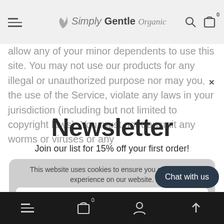Simply Gentle Organic — navigation header with hamburger menu, logo, search and cart icons
allow any of your minor dependents to use this site. You may not use our products for any illegal or unauthorized purpose nor may you, in the use of the Service, violate any laws in your jurisdiction (including but not limited to copyright laws). You must not transmit any worms or viruses or any
Newsletter
Join our list for 15% off your first order!
Email
Subscribe
This website uses cookies to ensure you get the best experience on our website.
Privacy & Policy
GOT IT!
Chat with us
Bottom navigation bar with hamburger, bag (0), user, and up-arrow icons